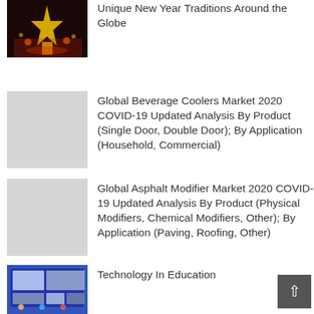[Figure (photo): Illuminated Christmas tree or monument at night with colorful lights reflected in water]
Unique New Year Traditions Around the Globe
[Figure (photo): Gray placeholder image for Global Beverage Coolers Market article]
Global Beverage Coolers Market 2020 COVID-19 Updated Analysis By Product (Single Door, Double Door); By Application (Household, Commercial)
[Figure (photo): Gray placeholder image for Global Asphalt Modifier Market article]
Global Asphalt Modifier Market 2020 COVID-19 Updated Analysis By Product (Physical Modifiers, Chemical Modifiers, Other); By Application (Paving, Roofing, Other)
[Figure (photo): Students in a library using laptops and tablets]
Technology In Education